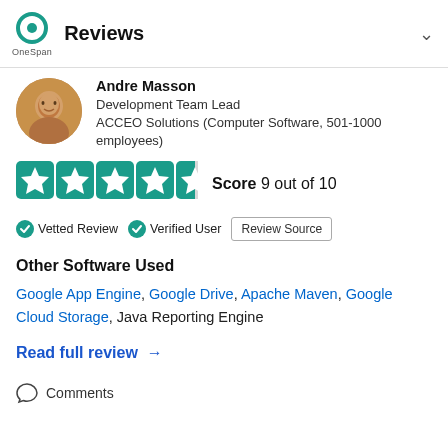Reviews
Andre Masson
Development Team Lead
ACCEO Solutions (Computer Software, 501-1000 employees)
[Figure (other): 4.5 out of 5 star rating displayed as teal star icons]
Score 9 out of 10
Vetted Review   Verified User   Review Source
Other Software Used
Google App Engine, Google Drive, Apache Maven, Google Cloud Storage, Java Reporting Engine
Read full review →
Comments